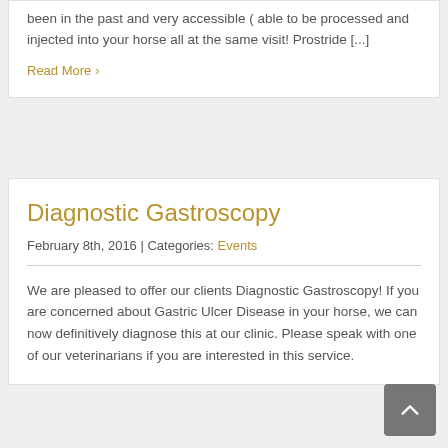been in the past and very accessible ( able to be processed and injected into your horse all at the same visit! Prostride [...]
Read More >
Diagnostic Gastroscopy
February 8th, 2016 | Categories: Events
We are pleased to offer our clients Diagnostic Gastroscopy!  If you are concerned about Gastric Ulcer Disease in your horse, we can now definitively diagnose this at our clinic.  Please speak with one of our veterinarians if you are interested in this service.